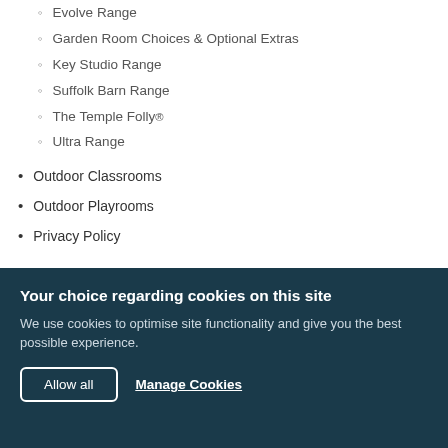Evolve Range
Garden Room Choices & Optional Extras
Key Studio Range
Suffolk Barn Range
The Temple Folly®
Ultra Range
Outdoor Classrooms
Outdoor Playrooms
Privacy Policy
Your choice regarding cookies on this site
We use cookies to optimise site functionality and give you the best possible experience.
Allow all
Manage Cookies